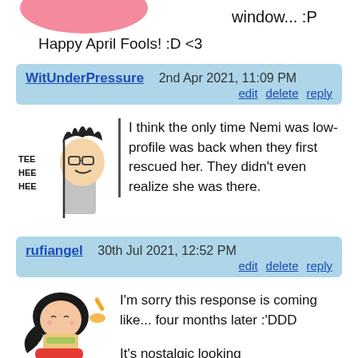[Figure (illustration): Partial illustration of a character peeking, with text 'window... :P' visible at top right]
Happy April Fools! :D <3
WitUnderPressure   2nd Apr 2021, 11:09 PM
edit  delete  reply
[Figure (illustration): Cartoon character peeking with 'TEE HEE HEE' text]
I think the only time Nemi was low-profile was back when they first rescued her. They didn't even realize she was there.
rufiangel   30th Jul 2021, 12:52 PM
edit  delete  reply
[Figure (illustration): Cartoon girl eating a sandwich]
I'm sorry this response is coming like... four months later :'DDD
It's nostalgic looking